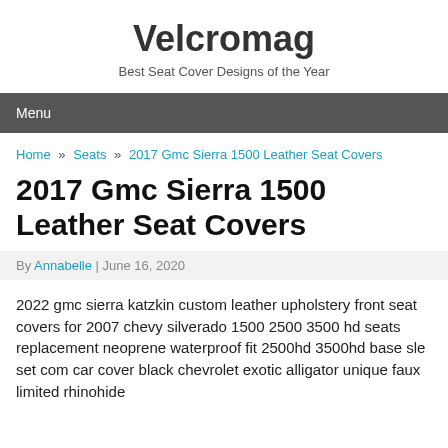Velcromag
Best Seat Cover Designs of the Year
Menu
Home » Seats » 2017 Gmc Sierra 1500 Leather Seat Covers
2017 Gmc Sierra 1500 Leather Seat Covers
By Annabelle | June 16, 2020
2022 gmc sierra katzkin custom leather upholstery front seat covers for 2007 chevy silverado 1500 2500 3500 hd seats replacement neoprene waterproof fit 2500hd 3500hd base sle set com car cover black chevrolet exotic alligator unique faux limited rhinohide